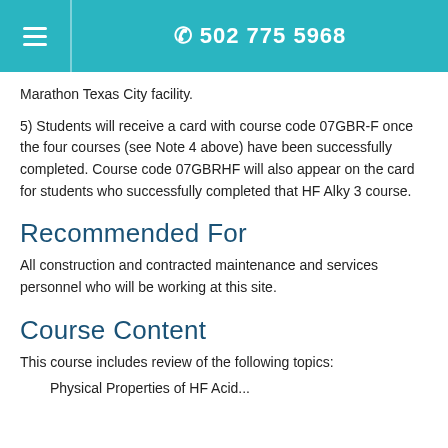☰  502 775 5968
Marathon Texas City facility.
5) Students will receive a card with course code 07GBR-F once the four courses (see Note 4 above) have been successfully completed. Course code 07GBRHF will also appear on the card for students who successfully completed that HF Alky 3 course.
Recommended For
All construction and contracted maintenance and services personnel who will be working at this site.
Course Content
This course includes review of the following topics:
Physical Properties of HF Acid...